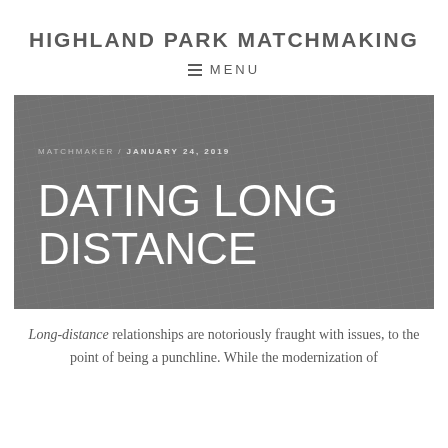HIGHLAND PARK MATCHMAKING
MENU
[Figure (photo): Dark grey textured background image with 'MATCHMAKER / JANUARY 24, 2019' metadata and 'DATING LONG DISTANCE' as large white heading text]
Long-distance relationships are notoriously fraught with issues, to the point of being a punchline. While the modernization of